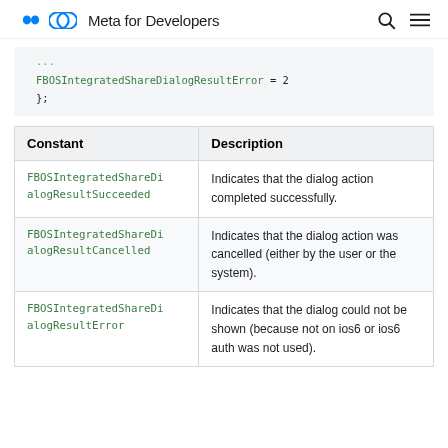Meta for Developers
FBOSIntegratedShareDialogResultError = 2
};
| Constant | Description |
| --- | --- |
| FBOSIntegratedShareDialogResultSucceeded | Indicates that the dialog action completed successfully. |
| FBOSIntegratedShareDialogResultCancelled | Indicates that the dialog action was cancelled (either by the user or the system). |
| FBOSIntegratedShareDialogResultError | Indicates that the dialog could not be shown (because not on ios6 or ios6 auth was not used). |